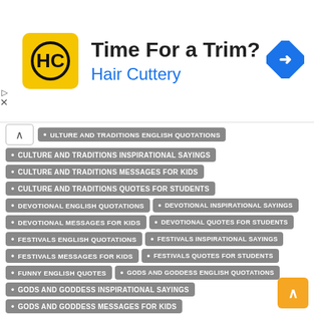[Figure (screenshot): Advertisement banner for Hair Cuttery with yellow logo, 'Time For a Trim?' headline, and blue navigation arrow icon]
CULTURE AND TRADITIONS ENGLISH QUOTATIONS
CULTURE AND TRADITIONS INSPIRATIONAL SAYINGS
CULTURE AND TRADITIONS MESSAGES FOR KIDS
CULTURE AND TRADITIONS QUOTES FOR STUDENTS
DEVOTIONAL ENGLISH QUOTATIONS
DEVOTIONAL INSPIRATIONAL SAYINGS
DEVOTIONAL MESSAGES FOR KIDS
DEVOTIONAL QUOTES FOR STUDENTS
FESTIVALS ENGLISH QUOTATIONS
FESTIVALS INSPIRATIONAL SAYINGS
FESTIVALS MESSAGES FOR KIDS
FESTIVALS QUOTES FOR STUDENTS
FUNNY ENGLISH QUOTES
GODS AND GODDESS ENGLISH QUOTATIONS
GODS AND GODDESS INSPIRATIONAL SAYINGS
GODS AND GODDESS MESSAGES FOR KIDS
GODS AND GODDESS QUOTES FOR STUDENTS
HINDU FESTIVALS ENGLISH QUOTATIONS
HINDU FESTIVALS INSPIRATIONAL SAYINGS
HINDU FESTIVALS MESSAGES FOR KIDS
HINDU FESTIVALS QUOTES FOR STUDENTS
INDIA ENGLISH QUOTATIONS